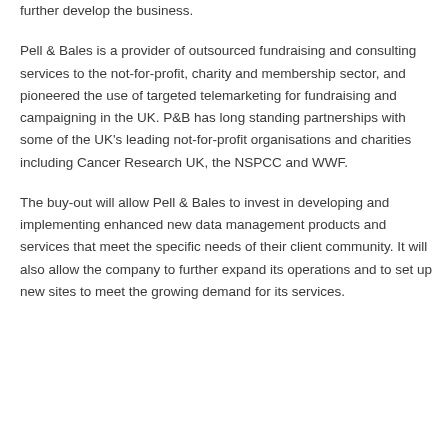further develop the business.
Pell & Bales is a provider of outsourced fundraising and consulting services to the not-for-profit, charity and membership sector, and pioneered the use of targeted telemarketing for fundraising and campaigning in the UK. P&B has long standing partnerships with some of the UK's leading not-for-profit organisations and charities including Cancer Research UK, the NSPCC and WWF.
The buy-out will allow Pell & Bales to invest in developing and implementing enhanced new data management products and services that meet the specific needs of their client community. It will also allow the company to further expand its operations and to set up new sites to meet the growing demand for its services.